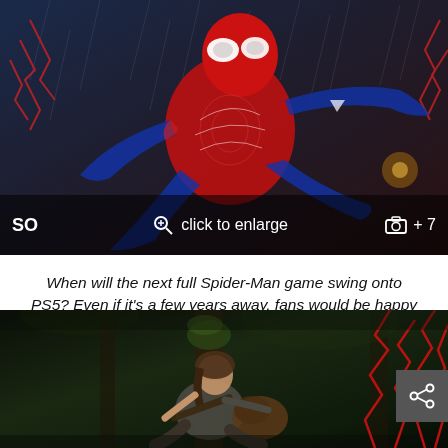[Figure (photo): Spider-Man in red and blue suit crouching in rain, dark city background, with UI overlay showing 'SO', 'click to enlarge' button with magnifying glass icon, camera icon and '+7' text]
When will the next full Spider-Man game swing onto PS5? Even if it's a few years away, fans would be happy to hear about it.
[Figure (photo): Character (Ellie from The Last of Us) sitting and playing guitar in a dark forested area, with red lightning crack overlays on the right side]